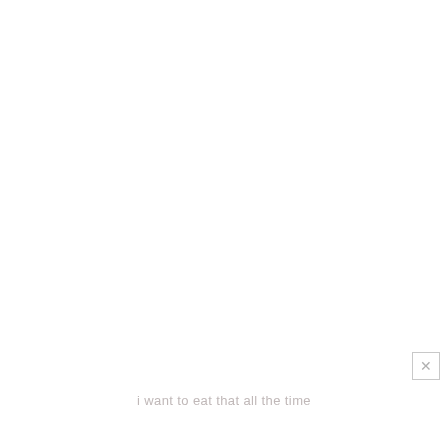i want to eat that all the time
[Figure (other): Close button (X) in a small square box, positioned bottom-right]